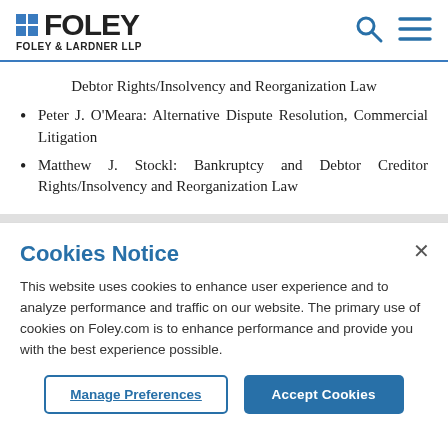[Figure (logo): Foley & Lardner LLP logo with blue squares and search/menu icons]
Debtor Rights/Insolvency and Reorganization Law
Peter J. O'Meara: Alternative Dispute Resolution, Commercial Litigation
Matthew J. Stockl: Bankruptcy and Debtor Creditor Rights/Insolvency and Reorganization Law
Cookies Notice
This website uses cookies to enhance user experience and to analyze performance and traffic on our website. The primary use of cookies on Foley.com is to enhance performance and provide you with the best experience possible.
Manage Preferences   Accept Cookies